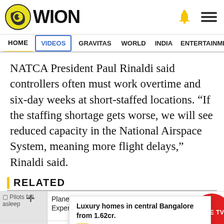WION
HOME  VIDEOS  GRAVITAS  WORLD  INDIA  ENTERTAINMENT  SPORT
NATCA President Paul Rinaldi said controllers often must work overtime and six-day weeks at short-staffed locations. “If the staffing shortage gets worse, we will see reduced capacity in the National Airspace System, meaning more flight delays,” Rinaldi said.
RELATED
Plane crew fall asleep at 37,000 feet in miss runway; Expert blames ‘pilot fatig
Luxury homes in central Bangalore from 1.62cr. AD SHAPOORJI PALLONJI
e of